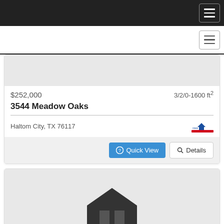Navigation bar
[Figure (screenshot): Property listing card showing $252,000 price, 3/2/0-1600 ft2, address 3544 Meadow Oaks, Haltom City TX 76117, with Quick View and Details buttons]
$252,000
3/2/0-1600 ft2
3544 Meadow Oaks
Haltom City, TX 76117
[Figure (screenshot): Second property listing card with house silhouette image placeholder]